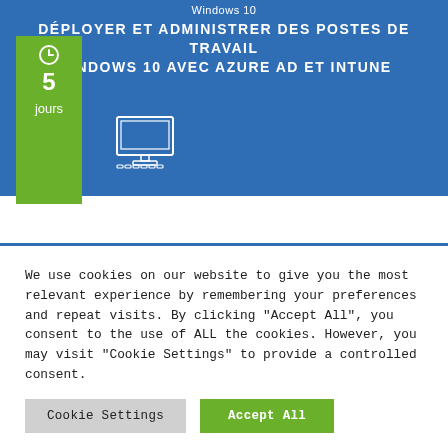Windows 10
DÉPLOYER ET ADMINISTRER DES POSTES DE TRAVAIL WINDOWS 10 AVEC AZURE AD ET INTUNE
[Figure (illustration): Green sidebar with clock icon, number 5, and 'jours' label. Computer/workstation icon in white outline on blue background.]
We use cookies on our website to give you the most relevant experience by remembering your preferences and repeat visits. By clicking "Accept All", you consent to the use of ALL the cookies. However, you may visit "Cookie Settings" to provide a controlled consent.
Cookie Settings | Accept All